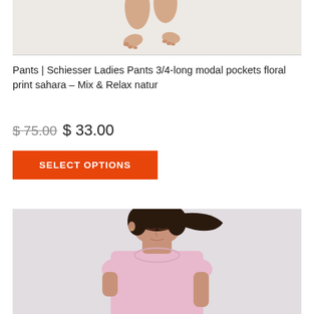[Figure (photo): Cropped bottom portion of a model wearing pants, showing only lower legs and feet against a light background]
Pants | Schiesser Ladies Pants 3/4-long modal pockets floral print sahara – Mix & Relax natur
$ 75.00 $ 33.00
SELECT OPTIONS
[Figure (photo): Woman with dark hair in a ponytail, wearing a light pink short-sleeve t-shirt, looking downward, against a light grey background]